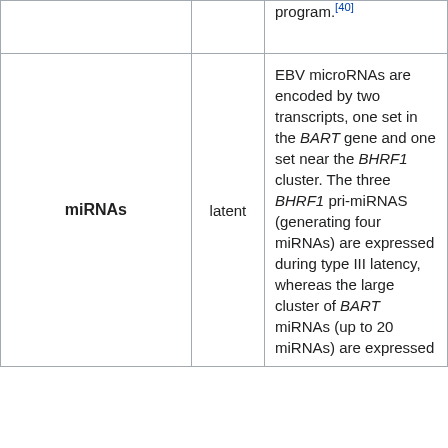|  |  | program.[40] |
| miRNAs | latent | EBV microRNAs are encoded by two transcripts, one set in the BART gene and one set near the BHRF1 cluster. The three BHRF1 pri-miRNAS (generating four miRNAs) are expressed during type III latency, whereas the large cluster of BART miRNAs (up to 20 miRNAs) are expressed |